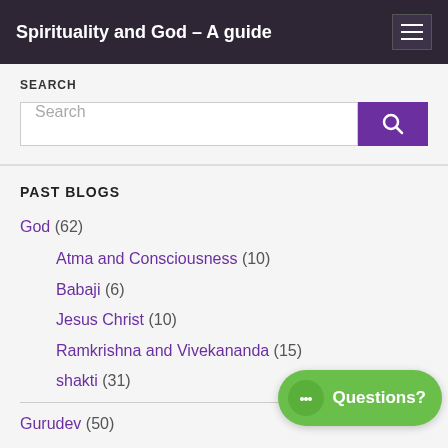Spirituality and God – A guide
SEARCH
Search
PAST BLOGS
God (62)
Atma and Consciousness (10)
Babaji (6)
Jesus Christ (10)
Ramkrishna and Vivekananda (15)
shakti (31)
Gurudev (50)
Dineshbhai Bhatt (3)